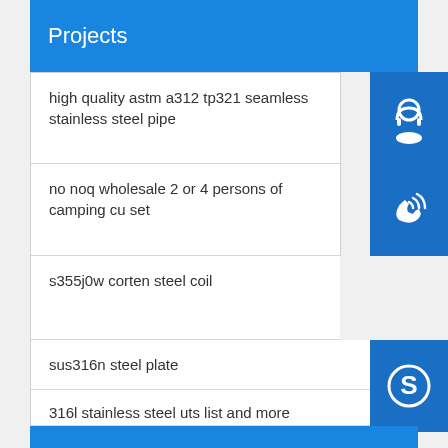Projects
high quality astm a312 tp321 seamless stainless steel pipe
no noq wholesale 2 or 4 persons of camping cu set
s355j0w corten steel coil
sus316n steel plate
316l stainless steel uts list and more
schedule 80 steel pipe price cheaper than in philippines